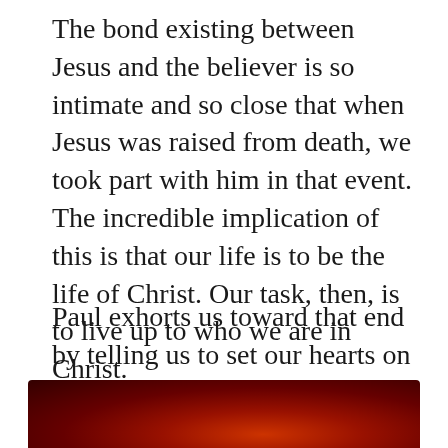The bond existing between Jesus and the believer is so intimate and so close that when Jesus was raised from death, we took part with him in that event. The incredible implication of this is that our life is to be the life of Christ. Our task, then, is to live up to who we are in Christ.
Paul exhorts us toward that end by telling us to set our hearts on things above. Today, on Easter Sunday, is the day to get our hearts out of the shame lounge and live upstairs with Jesus, who is seated at the right hand of God.
[Figure (photo): Partial view of a dramatic red and dark sky photograph, cropped at the bottom of the page]